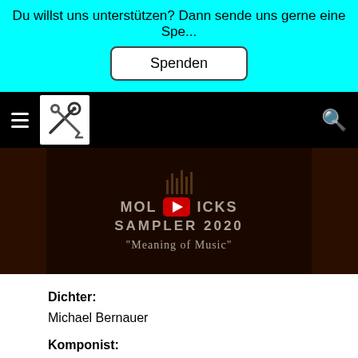Du willst uns unterstützen? Dann sende uns gerne eine Spe...
Spenden
[Figure (screenshot): Website navigation bar with hamburger menu, logo (crossed microphone and wrench), and search icon on black background]
[Figure (screenshot): Video thumbnail showing 'MOL..ICKS SAMPLER 2020 Meaning of Music' with YouTube play button overlay on dark background]
Dichter:
Michael Bernauer
Komponist: